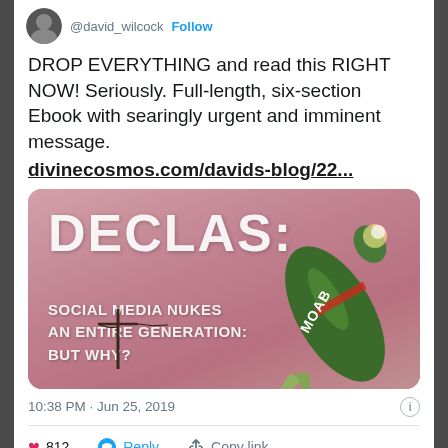@david_wilcock · Follow
DROP EVERYTHING and read this RIGHT NOW! Seriously. Full-length, six-section Ebook with searingly urgent and imminent message.
divinecosmos.com/davids-blog/22...
[Figure (illustration): Book cover image with pink/mauve sky background and a green MOAB bomb falling diagonally. Text reads: DECLAS: SOCIAL MEDIA NUKES AN ENTIRE GENERATION: BUT WHY? A power line silhouette is visible at the bottom left.]
10:38 PM · Jun 25, 2019
♥ 812   Reply   Copy link